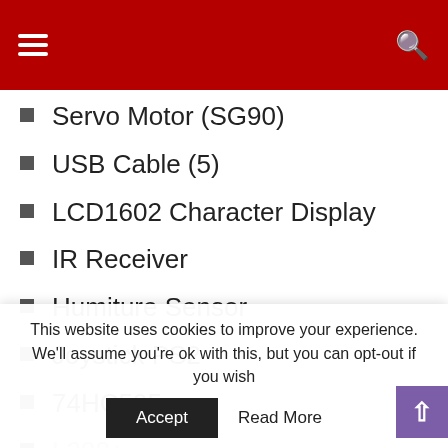Navigation header with hamburger menu and search icon
Servo Motor (SG90)
USB Cable (5)
LCD1602 Character Display
IR Receiver
Humiture Sensor
Joystick PS2
74HC595
L298+
This website uses cookies to improve your experience. We'll assume you're ok with this, but you can opt-out if you wish
Accept  Read More